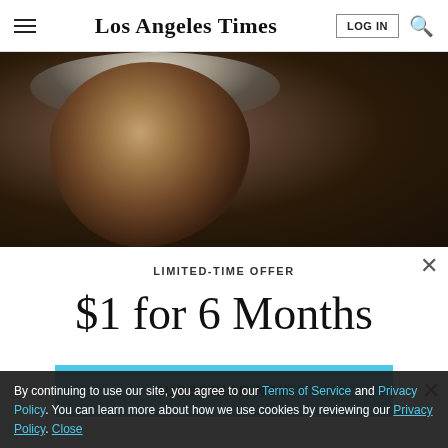Los Angeles Times
[Figure (photo): Close-up photo of an elderly man with white curly hair and beard, in dark, moody lighting]
LIMITED-TIME OFFER
$1 for 6 Months
SUBSCRIBE NOW
By continuing to use our site, you agree to our Terms of Service and Privacy Policy. You can learn more about how we use cookies by reviewing our Privacy Policy. Close